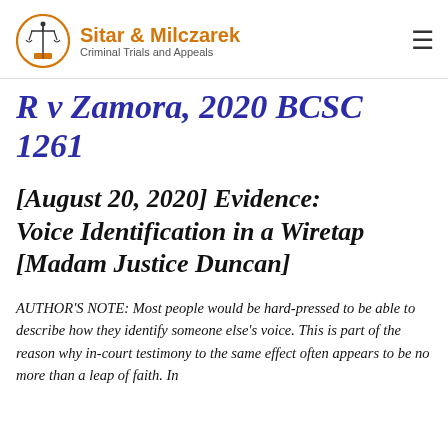[Figure (logo): Sitar & Milczarek law firm logo with scales of justice in an orange circle, firm name in orange, and tagline 'Criminal Trials and Appeals']
R v Zamora, 2020 BCSC 1261
[August 20, 2020] Evidence: Voice Identification in a Wiretap [Madam Justice Duncan]
AUTHOR'S NOTE: Most people would be hard-pressed to be able to describe how they identify someone else's voice. This is part of the reason why in-court testimony to the same effect often appears to be no more than a leap of faith. In